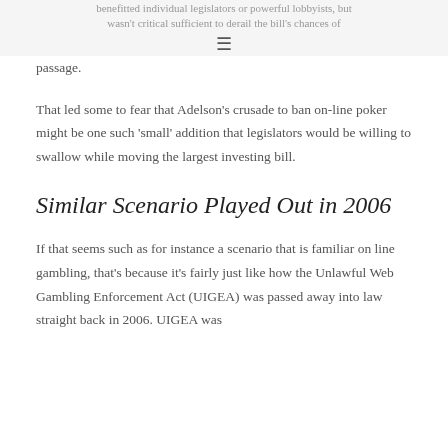benefitted individual legislators or powerful lobbyists, but wasn't critical sufficient to derail the bill's chances of passage.
That led some to fear that Adelson's crusade to ban on-line poker might be one such 'small' addition that legislators would be willing to swallow while moving the largest investing bill.
Similar Scenario Played Out in 2006
If that seems such as for instance a scenario that is familiar on line gambling, that's because it's fairly just like how the Unlawful Web Gambling Enforcement Act (UIGEA) was passed away into law straight back in 2006. UIGEA was